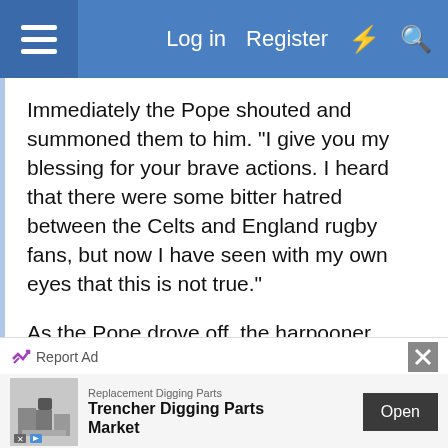Log in  Register
Immediately the Pope shouted and summoned them to him. "I give you my blessing for your brave actions. I heard that there were some bitter hatred between the Celts and England rugby fans, but now I have seen with my own eyes that this is not true."
As the Pope drove off, the harpooner asked his buddies: "Who was that?"
"It was the Pope," replied the Irishman. "He is in direct contact with God and has access to all of God's wisdom."
"Well" the harpooner said, "he may have access to God and his wisdom, but he doesn't know anything about shark fishing. Is the bait holding up OK or do we
Report Ad
Replacement Digging Parts
Trencher Digging Parts Market
Open